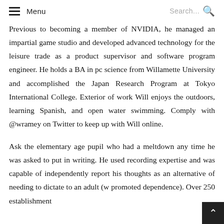Menu  Search...
Previous to becoming a member of NVIDIA, he managed an impartial game studio and developed advanced technology for the leisure trade as a product supervisor and software program engineer. He holds a BA in pc science from Willamette University and accomplished the Japan Research Program at Tokyo International College. Exterior of work Will enjoys the outdoors, learning Spanish, and open water swimming. Comply with @wramey on Twitter to keep up with Will online.
Ask the elementary age pupil who had a meltdown any time he was asked to put in writing. He used recording expertise and was capable of independently report his thoughts as an alternative of needing to dictate to an adult (w promoted dependence). Over 250 establishment